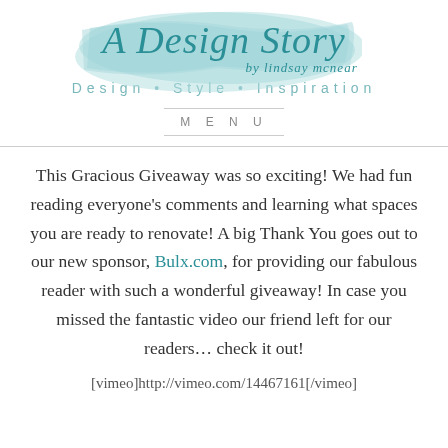[Figure (logo): A Design Story blog logo with teal brush stroke background, cursive script reading 'A Design Story by Lindsay McNear', tagline 'Design • Style • Inspiration']
MENU
This Gracious Giveaway was so exciting! We had fun reading everyone's comments and learning what spaces you are ready to renovate! A big Thank You goes out to our new sponsor, Bulx.com, for providing our fabulous reader with such a wonderful giveaway! In case you missed the fantastic video our friend left for our readers… check it out!
[vimeo]http://vimeo.com/14467161[/vimeo]